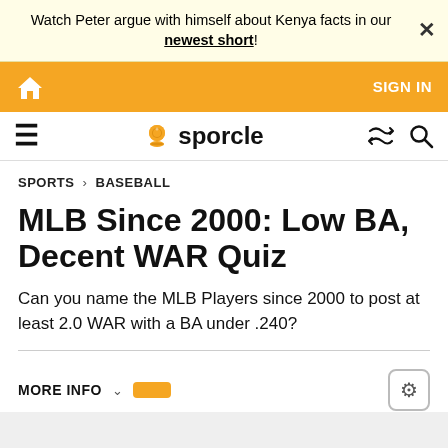Watch Peter argue with himself about Kenya facts in our newest short!
SIGN IN
sporcle
SPORTS > BASEBALL
MLB Since 2000: Low BA, Decent WAR Quiz
Can you name the MLB Players since 2000 to post at least 2.0 WAR with a BA under .240?
MORE INFO